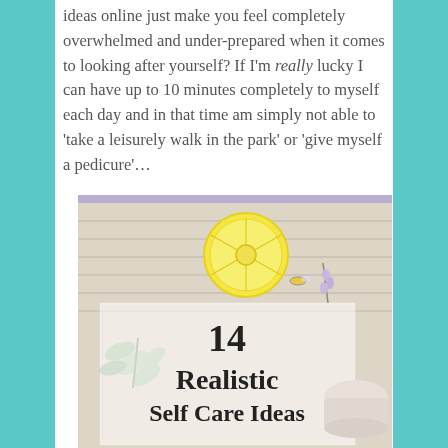ideas online just make you feel completely overwhelmed and under-prepared when it comes to looking after yourself? If I'm really lucky I can have up to 10 minutes completely to myself each day and in that time am simply not able to 'take a leisurely walk in the park' or 'give myself a pedicure'…
[Figure (illustration): A styled flat-lay image with a lemon slice, herbs, a cream jar, and a rectangular white overlay showing the text '14 Realistic Self Care Ideas'. A lavender/purple stripe runs along the top edge of the image.]